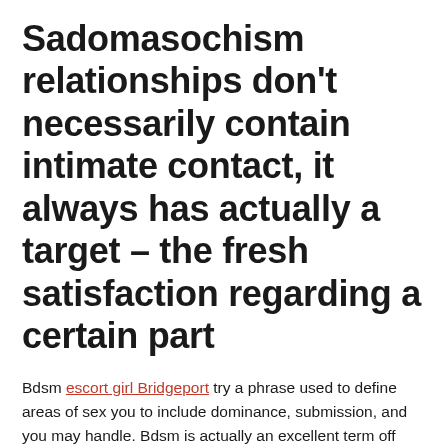Sadomasochism relationships don't necessarily contain intimate contact, it always has actually a target – the fresh satisfaction regarding a certain part
Bdsm escort girl Bridgeport try a phrase used to define areas of sex you to include dominance, submission, and you may handle. Bdsm is actually an excellent term off sex. An excellent poll conducted in the past in the us shown you to definitely approximately 47% of females and you can 60% of males fantasize about are prominent inside intercourse. Nowadays, individuals speak about their intimate borders and you will know very well what they prefer and you may do it. It has a confident effect on their intimate event as well